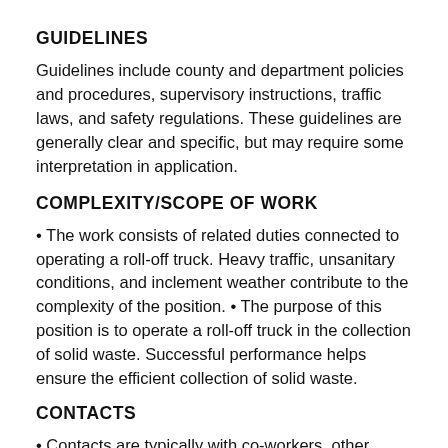GUIDELINES
Guidelines include county and department policies and procedures, supervisory instructions, traffic laws, and safety regulations. These guidelines are generally clear and specific, but may require some interpretation in application.
COMPLEXITY/SCOPE OF WORK
• The work consists of related duties connected to operating a roll-off truck. Heavy traffic, unsanitary conditions, and inclement weather contribute to the complexity of the position. • The purpose of this position is to operate a roll-off truck in the collection of solid waste. Successful performance helps ensure the efficient collection of solid waste.
CONTACTS
• Contacts are typically with co-workers, other county employees, and the general public. • Contacts are typically to give or exchange information and provide